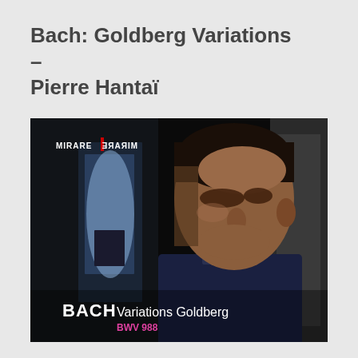Bach: Goldberg Variations – Pierre Hantaï
[Figure (illustration): Album cover for Bach Goldberg Variations BWV 988 by Pierre Hantaï on Mirare label. Dark atmospheric photo of a man looking downward with blue-toned background. Text on cover: MIRARE logo (with mirror-reversed text), BACH Variations Goldberg BWV 988 in white and pink/magenta text.]